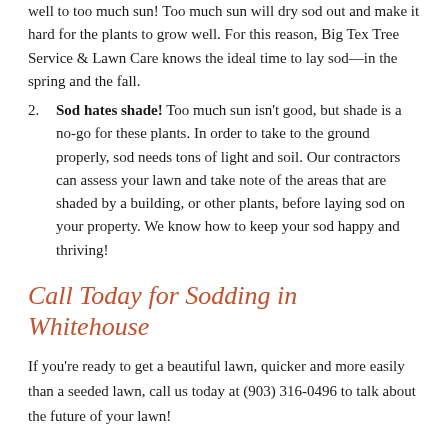well to too much sun! Too much sun will dry sod out and make it hard for the plants to grow well. For this reason, Big Tex Tree Service & Lawn Care knows the ideal time to lay sod––in the spring and the fall.
Sod hates shade! Too much sun isn't good, but shade is a no-go for these plants. In order to take to the ground properly, sod needs tons of light and soil. Our contractors can assess your lawn and take note of the areas that are shaded by a building, or other plants, before laying sod on your property. We know how to keep your sod happy and thriving!
Call Today for Sodding in Whitehouse
If you're ready to get a beautiful lawn, quicker and more easily than a seeded lawn, call us today at (903) 316-0496 to talk about the future of your lawn!